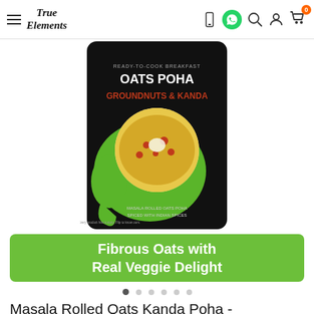True Elements — navigation header with hamburger menu, logo, phone icon, WhatsApp icon, search icon, user icon, cart icon with badge 0
[Figure (photo): Product package photo: Oats Poha Groundnuts & Kanda black pouch with green elephant graphic and bowl of oats poha on front, labeled Ready-to-Cook Breakfast]
Fibrous Oats with Real Veggie Delight
Masala Rolled Oats Kanda Poha - Antioxidant Rich